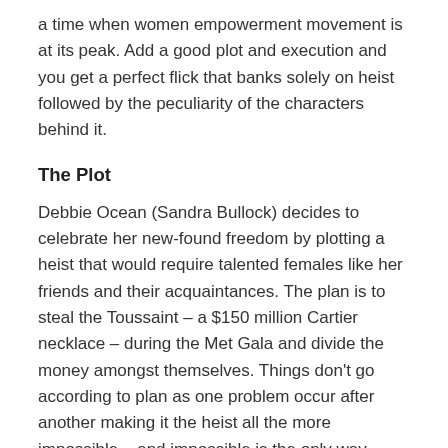a time when women empowerment movement is at its peak. Add a good plot and execution and you get a perfect flick that banks solely on heist followed by the peculiarity of the characters behind it.
The Plot
Debbie Ocean (Sandra Bullock) decides to celebrate her new-found freedom by plotting a heist that would require talented females like her friends and their acquaintances. The plan is to steal the Toussaint – a $150 million Cartier necklace – during the Met Gala and divide the money amongst themselves. Things don't go according to plan as one problem occur after another making it the heist all the more impossible – and impossible is the only way Oceans like it best.
The Good
Watching Sandra Bullock in any film is a treat and she is just incredible as the cool and calm Debbie Ocean here. To